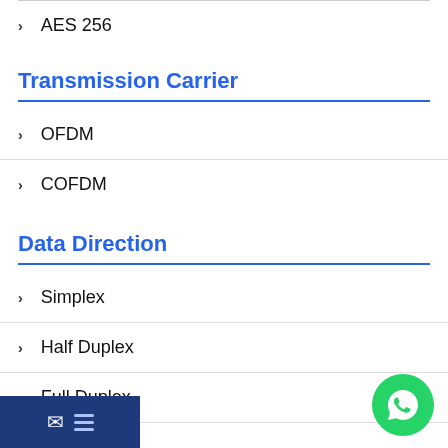AES 256
Transmission Carrier
OFDM
COFDM
Data Direction
Simplex
Half Duplex
Full Duplex
-Way